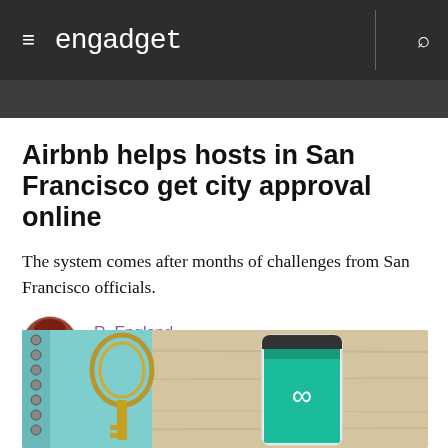engadget
Airbnb helps hosts in San Francisco get city approval online
The system comes after months of challenges from San Francisco officials.
R. England
09.07.17
[Figure (photo): Photo showing a smartphone with the Airbnb app open (teal screen with logo), next to a spiral notebook and keyring on a wooden surface]